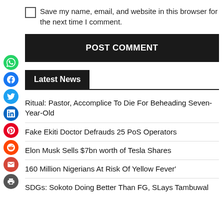Save my name, email, and website in this browser for the next time I comment.
POST COMMENT
Latest News
Ritual: Pastor, Accomplice To Die For Beheading Seven-Year-Old
Fake Ekiti Doctor Defrauds 25 PoS Operators
Elon Musk Sells $7bn worth of Tesla Shares
160 Million Nigerians At Risk Of Yellow Fever'
SDGs: Sokoto Doing Better Than FG, SLays Tambuwal